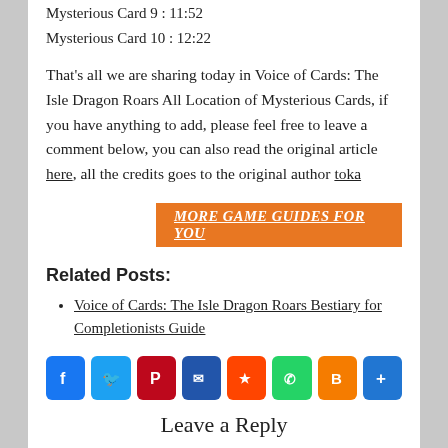Mysterious Card 9 : 11:52
Mysterious Card 10 : 12:22
That's all we are sharing today in Voice of Cards: The Isle Dragon Roars All Location of Mysterious Cards, if you have anything to add, please feel free to leave a comment below, you can also read the original article here, all the credits goes to the original author toka
MORE GAME GUIDES FOR YOU
Related Posts:
Voice of Cards: The Isle Dragon Roars Bestiary for Completionists Guide
[Figure (infographic): Social share icons: Facebook, Twitter, Pinterest, Email, Reddit, WhatsApp, Blogger, Share]
Leave a Reply